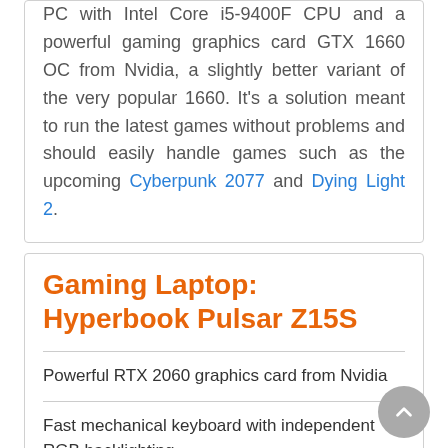PC with Intel Core i5-9400F CPU and a powerful gaming graphics card GTX 1660 OC from Nvidia, a slightly better variant of the very popular 1660. It's a solution meant to run the latest games without problems and should easily handle games such as the upcoming Cyberpunk 2077 and Dying Light 2.
Gaming Laptop: Hyperbook Pulsar Z15S
Powerful RTX 2060 graphics card from Nvidia
Fast mechanical keyboard with independent RGB backlighting
Unique and durable design